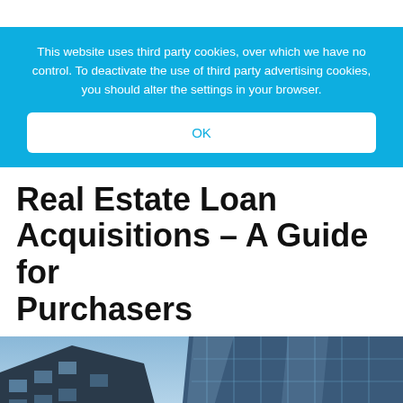This website uses third party cookies, over which we have no control. To deactivate the use of third party advertising cookies, you should alter the settings in your browser.
OK
Real Estate Loan Acquisitions – A Guide for Purchasers
[Figure (photo): Looking-up view of modern glass building facade with blue sky background]